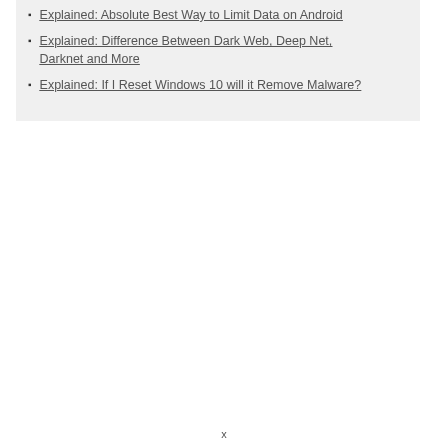Explained: Absolute Best Way to Limit Data on Android
Explained: Difference Between Dark Web, Deep Net, Darknet and More
Explained: If I Reset Windows 10 will it Remove Malware?
x